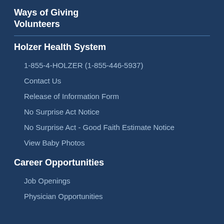Ways of Giving
Volunteers
Holzer Health System
1-855-4-HOLZER (1-855-446-5937)
Contact Us
Release of Information Form
No Surprise Act Notice
No Surprise Act - Good Faith Estimate Notice
View Baby Photos
Career Opportunities
Job Openings
Physician Opportunities